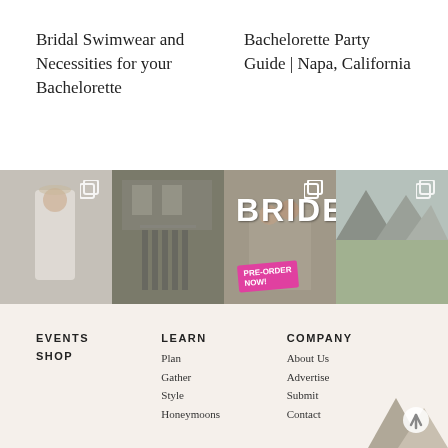Bridal Swimwear and Necessities for your Bachelorette
Bachelorette Party Guide | Napa, California
[Figure (photo): Four Instagram-style photos in a horizontal strip: 1) Woman in white dress holding a hula hoop with a hat; 2) Modern venue with long dining table set outdoors among trees; 3) BRIDE magazine cover showing couple with PRE-ORDER NOW badge; 4) Man sitting with a dog and woman in wedding dress with mountains in background.]
EVENTS
SHOP
LEARN
Plan
Gather
Style
Honeymoons
COMPANY
About Us
Advertise
Submit
Contact